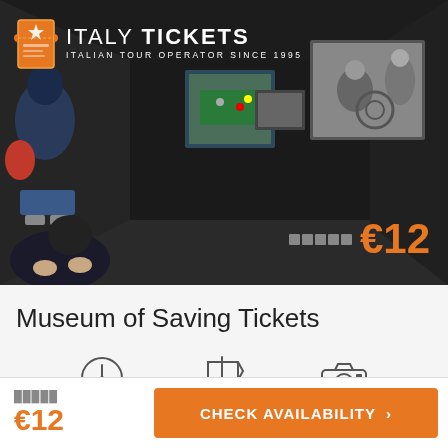[Figure (photo): Dark museum interior hallway with illuminated framed black-and-white photography exhibits on walls. Visitors seated on left side. Italy Tickets logo and price overlay visible.]
Museum of Saving Tickets
[Figure (infographic): Three icons: clock icon, sign/pointer icon, camera icon]
€12
CHECK AVAILABILITY >